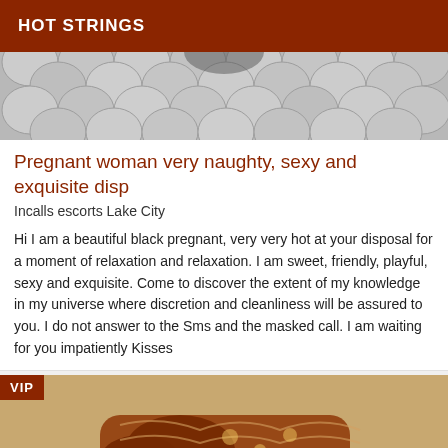HOT STRINGS
[Figure (photo): Black and white illustration of overlapping circular coin-like shapes with floral/scale pattern]
Pregnant woman very naughty, sexy and exquisite disp
Incalls escorts Lake City
Hi I am a beautiful black pregnant, very very hot at your disposal for a moment of relaxation and relaxation. I am sweet, friendly, playful, sexy and exquisite. Come to discover the extent of my knowledge in my universe where discretion and cleanliness will be assured to you. I do not answer to the Sms and the masked call. I am waiting for you impatiently Kisses
[Figure (photo): Color illustration of a woman with dark hair lying down, wearing ornate patterned clothing in brown/gold tones with VIP badge overlay]